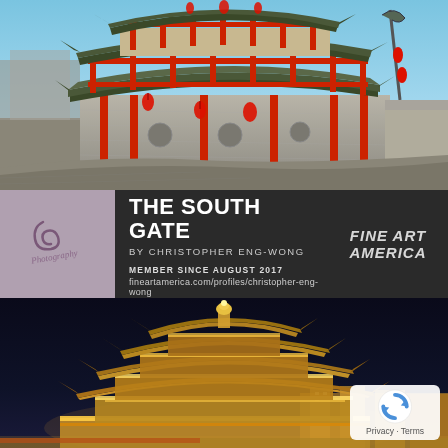[Figure (photo): Daytime photo of the South Gate (Nandamen) of Xi'an city wall, a traditional Chinese multi-tiered pagoda-style gate tower with red columns, decorative green-tiled roofs, red lanterns, and a dragon sculpture on a pole. Taken from ground level showing the stone wall base and the gate tower rising above.]
THE SOUTH GATE
by CHRISTOPHER ENG-WONG
MEMBER SINCE AUGUST 2017
fineartamerica.com/profiles/christopher-eng-wong
[Figure (logo): Fine Art America logo — italic stylized text reading 'FINE ART AMERICA']
[Figure (illustration): Logo with cursive script text 'Photography' with decorative swirl above, on muted mauve/purple background]
[Figure (photo): Nighttime photo of a traditional Chinese pagoda-style tower (drum tower or bell tower) illuminated with golden/yellow lights against a dark blue night sky. Modern lit buildings visible in background.]
Privacy · Terms